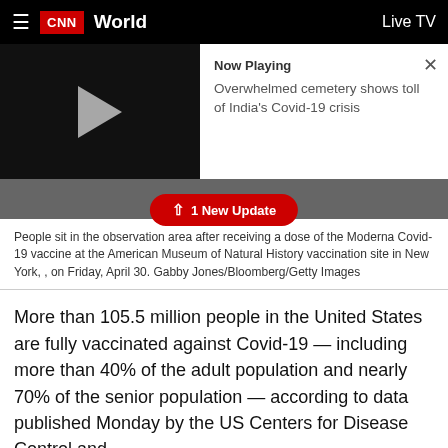CNN World  Live TV
[Figure (screenshot): Video player with play button on dark background, and 'Now Playing' panel showing 'Overwhelmed cemetery shows toll of India's Covid-19 crisis'. Below is a photo of a person in a white hazmat suit in a room with chairs. A red '1 New Update' button is overlaid.]
People sit in the observation area after receiving a dose of the Moderna Covid-19 vaccine at the American Museum of Natural History vaccination site in New York, , on Friday, April 30. Gabby Jones/Bloomberg/Getty Images
More than 105.5 million people in the United States are fully vaccinated against Covid-19 — including more than 40% of the adult population and nearly 70% of the senior population — according to data published Monday by the US Centers for Disease Control and